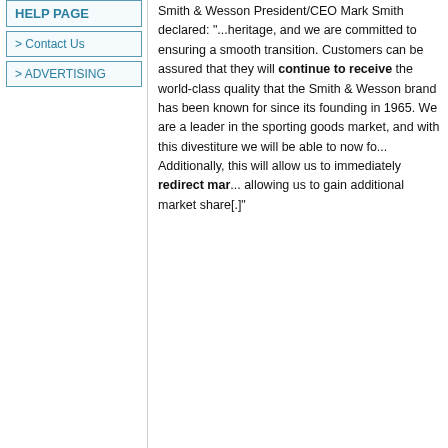HELP PAGE
> Contact Us
> ADVERTISING
Smith & Wesson President/CEO Mark Smith declared: "...heritage, and we are committed to ensuring a smooth transition. Customers can be assured that they will continue to receive the world-class quality that the Smith & Wesson brand has been known for since its founding in 1965. We are a leader in the sporting goods market, and with this divestiture we will be able to now fo... Additionally, this will allow us to immediately redirect mar... allowing us to gain additional market share[.]"